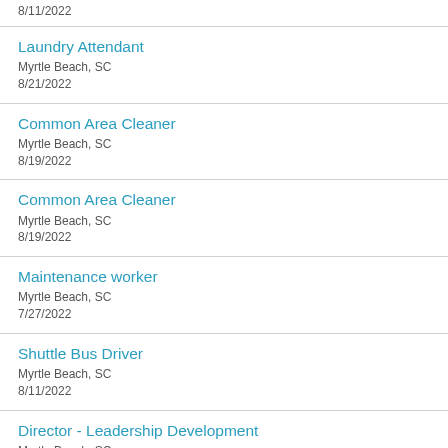8/11/2022
Laundry Attendant
Myrtle Beach, SC
8/21/2022
Common Area Cleaner
Myrtle Beach, SC
8/19/2022
Common Area Cleaner
Myrtle Beach, SC
8/19/2022
Maintenance worker
Myrtle Beach, SC
7/27/2022
Shuttle Bus Driver
Myrtle Beach, SC
8/11/2022
Director - Leadership Development
Myrtle Beach, SC